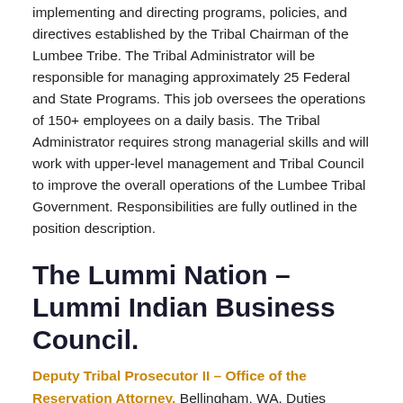implementing and directing programs, policies, and directives established by the Tribal Chairman of the Lumbee Tribe. The Tribal Administrator will be responsible for managing approximately 25 Federal and State Programs. This job oversees the operations of 150+ employees on a daily basis. The Tribal Administrator requires strong managerial skills and will work with upper-level management and Tribal Council to improve the overall operations of the Lumbee Tribal Government. Responsibilities are fully outlined in the position description.
The Lummi Nation – Lummi Indian Business Council.
Deputy Tribal Prosecutor II – Office of the Reservation Attorney. Bellingham, WA. Duties include: (1) Representing the Nation in Tribal Courts and Courts of Appeals, and other tribal...